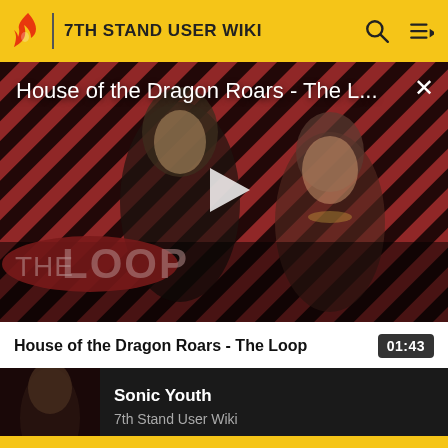7TH STAND USER WIKI
[Figure (screenshot): Video thumbnail for 'House of the Dragon Roars - The Loop' showing two characters from House of the Dragon against a red and black diagonal striped background with 'THE LOOP' text overlay and a play button in the center. Title overlay reads 'House of the Dragon Roars - The L...']
House of the Dragon Roars - The Loop
01:43
Sonic Youth
7th Stand User Wiki